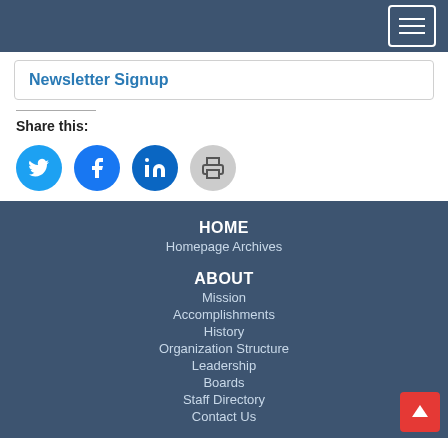Navigation header bar with hamburger menu
Newsletter Signup
Share this:
[Figure (infographic): Social sharing icons: Twitter (blue circle), Facebook (blue circle), LinkedIn (blue circle), Print (grey circle)]
HOME
Homepage Archives

ABOUT
Mission
Accomplishments
History
Organization Structure
Leadership
Boards
Staff Directory
Contact Us